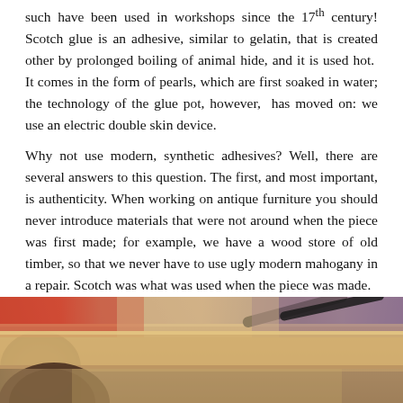such have been used in workshops since the 17th century! Scotch glue is an adhesive, similar to gelatin, that is created other by prolonged boiling of animal hide, and it is used hot.  It comes in the form of pearls, which are first soaked in water; the technology of the glue pot, however,  has moved on: we use an electric double skin device.
Why not use modern, synthetic adhesives? Well, there are several answers to this question. The first, and most important, is authenticity. When working on antique furniture you should never introduce materials that were not around when the piece was first made; for example, we have a wood store of old timber, so that we never have to use ugly modern mahogany in a repair. Scotch was what was used when the piece was made.
[Figure (photo): Workshop photo showing wooden furniture pieces and tools on a workbench, with blurred background showing workshop environment.]